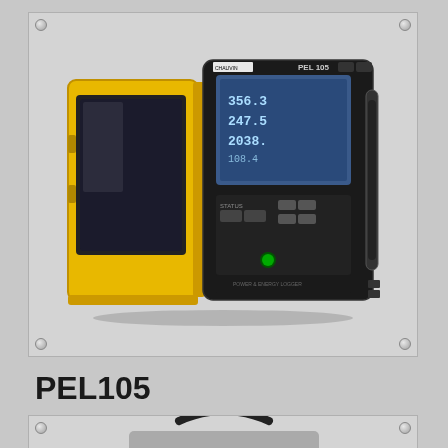[Figure (photo): PEL105 Power & Energy Logger device shown open in a yellow rugged carrying case, with the main unit displaying readings on an LCD screen with blue backlight]
PEL105
Power & Energy Logger
[Figure (photo): Partial view of another device or accessory at the bottom of the page, showing a black handle/strap against a gray background]